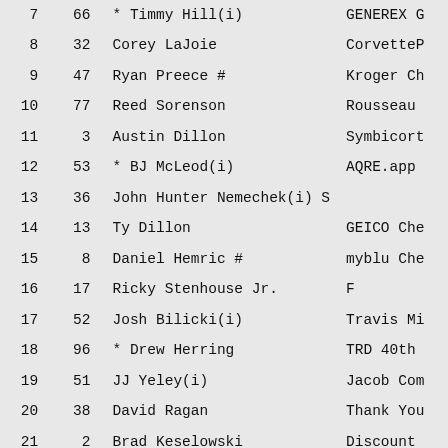| Pos | Car | Driver | Sponsor |
| --- | --- | --- | --- |
| 7 | 66 | * Timmy Hill(i) | GENEREX G |
| 8 | 32 | Corey LaJoie | CorvetteP |
| 9 | 47 | Ryan Preece # | Kroger Ch |
| 10 | 77 | Reed Sorenson | Rousseau |
| 11 | 3 | Austin Dillon | Symbicort |
| 12 | 53 | * BJ McLeod(i) | AQRE.app |
| 13 | 36 | John Hunter Nemechek(i) | S |
| 14 | 13 | Ty Dillon | GEICO Che |
| 15 | 8 | Daniel Hemric # | myblu Che |
| 16 | 17 | Ricky Stenhouse Jr. | F |
| 17 | 52 | Josh Bilicki(i) | Travis Mi |
| 18 | 96 | * Drew Herring | TRD 40th |
| 19 | 51 | JJ Yeley(i) | Jacob Com |
| 20 | 38 | David Ragan | Thank You |
| 21 | 2 | Brad Keselowski | Discount |
| 22 | 4 | Kevin Harvick (P) | B |